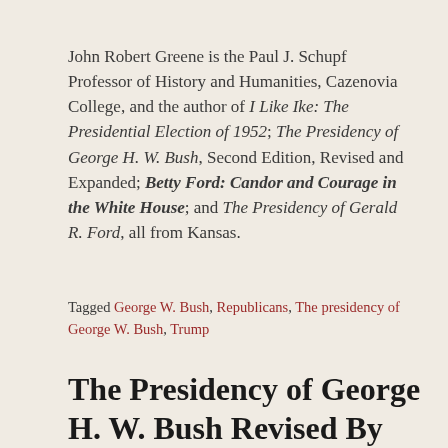John Robert Greene is the Paul J. Schupf Professor of History and Humanities, Cazenovia College, and the author of I Like Ike: The Presidential Election of 1952; The Presidency of George H. W. Bush, Second Edition, Revised and Expanded; Betty Ford: Candor and Courage in the White House; and The Presidency of Gerald R. Ford, all from Kansas.
Tagged George W. Bush, Republicans, The presidency of George W. Bush, Trump
The Presidency of George H. W. Bush Revised By Historian John